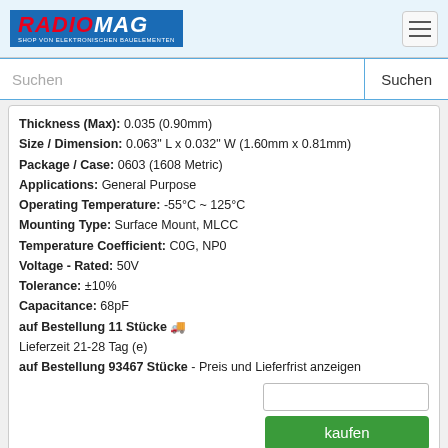RADIOMAG - SHOP VON ELEKTRONISCHEN BAUELEMENTEN
Suchen
Thickness (Max): 0.035  (0.90mm)
Size / Dimension: 0.063" L x 0.032" W (1.60mm x 0.81mm)
Package / Case: 0603 (1608 Metric)
Applications: General Purpose
Operating Temperature: -55°C ~ 125°C
Mounting Type: Surface Mount, MLCC
Temperature Coefficient: C0G, NP0
Voltage - Rated: 50V
Tolerance: ±10%
Capacitance: 68pF
auf Bestellung 11 Stücke 🚚
Lieferzeit 21-28 Tag (e)
auf Bestellung 93467 Stücke - Preis und Lieferfrist anzeigen
kaufen
06035A6R0CAT4A